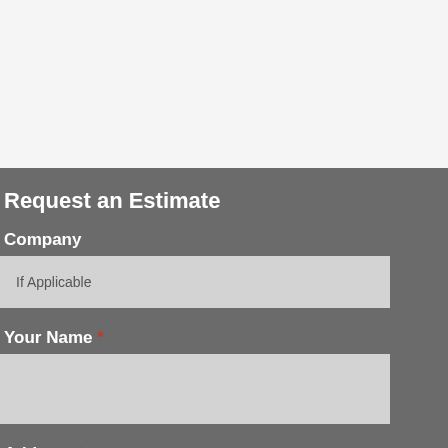[Figure (other): Light grey/white top section, partially visible content area of a webpage]
Request an Estimate
Company
If Applicable
Your Name *
Address *